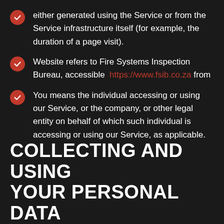either generated using the Service or from the Service infrastructure itself (for example, the duration of a page visit).
Website refers to Fire Systems Inspection Bureau, accessible from https://www.fsib.co.za
You means the individual accessing or using our Service, or the company, or other legal entity on behalf of which such individual is accessing or using our Service, as applicable.
COLLECTING AND USING YOUR PERSONAL DATA